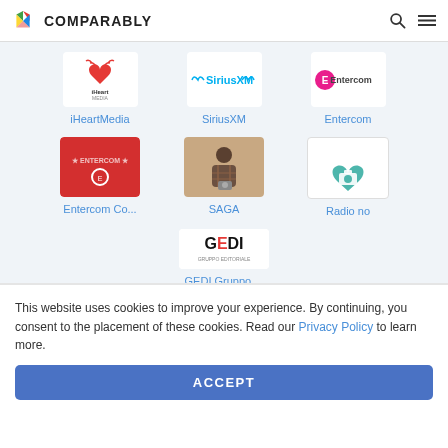COMPARABLY
[Figure (logo): iHeartMedia logo - heart with radio waves icon and iHeart MEDIA text]
iHeartMedia
[Figure (logo): SiriusXM logo - text with signal waves]
SiriusXM
[Figure (logo): Entercom logo - pink/red circle with E icon]
Entercom
[Figure (logo): Entercom Co... - red square logo with Entercom text]
Entercom Co...
[Figure (photo): SAGA - person in plaid shirt holding camera]
SAGA
[Figure (logo): Radio no - teal heart with camera icon]
Radio no
[Figure (logo): GEDI Gruppo - GEDI text logo in black and red]
GEDI Gruppo ...
This website uses cookies to improve your experience. By continuing, you consent to the placement of these cookies. Read our Privacy Policy to learn more.
ACCEPT